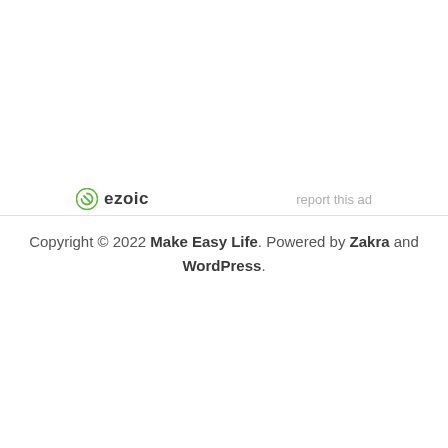[Figure (logo): Ezoic logo with green circular icon and bold 'ezoic' text, with 'report this ad' link on the right]
Copyright © 2022 Make Easy Life. Powered by Zakra and WordPress.